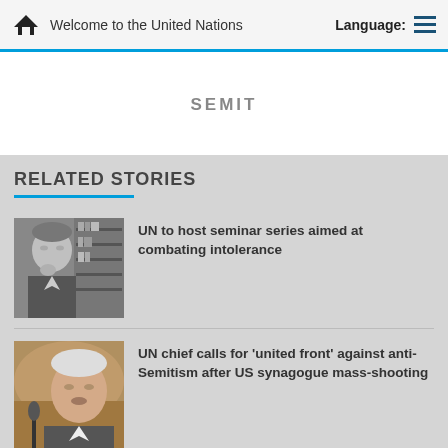Welcome to the United Nations  Language:
SEMIT
RELATED STORIES
[Figure (photo): Black and white portrait photo of an elderly man in a suit, seated in front of bookshelves, hand raised near his chin in a thoughtful pose.]
UN to host seminar series aimed at combating intolerance
[Figure (photo): Color photo of an older man speaking at a microphone, blurred background.]
UN chief calls for ‘united front’ against anti-Semitism after US synagogue mass-shooting